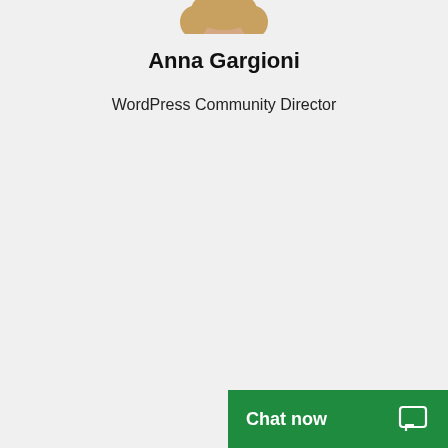[Figure (photo): Bottom portion of a person's profile photo (headshot), cropped at the top of the page, showing shoulders and lower face area.]
Anna Gargioni
WordPress Community Director
Chat now